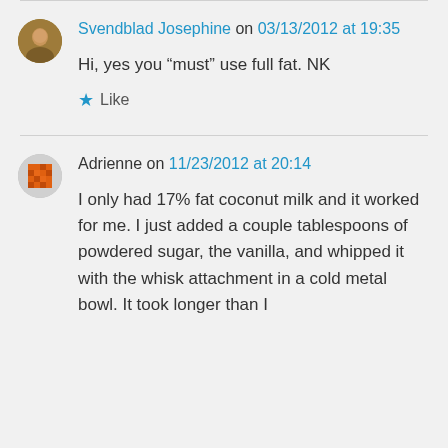Svendblad Josephine on 03/13/2012 at 19:35
Hi, yes you “must” use full fat. NK
Like
Adrienne on 11/23/2012 at 20:14
I only had 17% fat coconut milk and it worked for me. I just added a couple tablespoons of powdered sugar, the vanilla, and whipped it with the whisk attachment in a cold metal bowl. It took longer than I